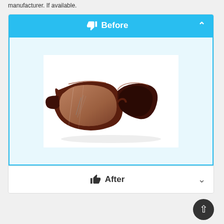manufacturer. If available.
[Figure (screenshot): UI card with 'Before' header in blue showing a photo of brown tortoiseshell sunglasses with scratched lenses, and an 'After' collapsed section below.]